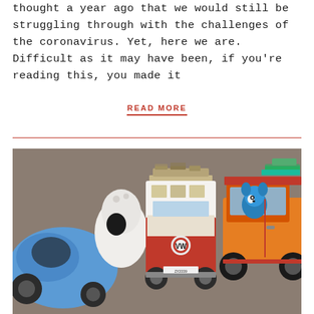thought a year ago that we would still be struggling through with the challenges of the coronavirus. Yet, here we are. Difficult as it may have been, if you're reading this, you made it
READ MORE
[Figure (photo): Photo of toy vehicles including a blue car, a red and white VW Kombi van, and an orange 4WD with Bluey character toys, arranged on a surface]